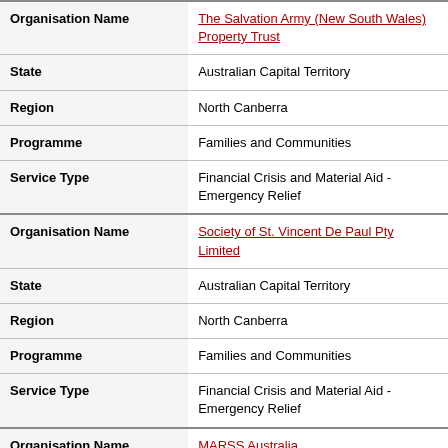| Field | Value |
| --- | --- |
| Organisation Name | The Salvation Army (New South Wales) Property Trust |
| State | Australian Capital Territory |
| Region | North Canberra |
| Programme | Families and Communities |
| Service Type | Financial Crisis and Material Aid - Emergency Relief |
| Organisation Name | Society of St. Vincent De Paul Pty Limited |
| State | Australian Capital Territory |
| Region | North Canberra |
| Programme | Families and Communities |
| Service Type | Financial Crisis and Material Aid - Emergency Relief |
| Organisation Name | MARSS Australia |
| State | Australian Capital Territory |
| Region | North Canberra |
| Programme | Families and Communities |